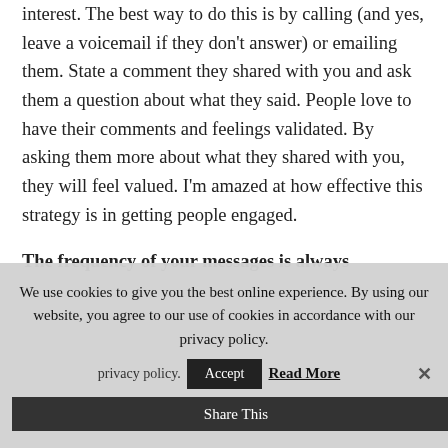interest. The best way to do this is by calling (and yes, leave a voicemail if they don't answer) or emailing them. State a comment they shared with you and ask them a question about what they said. People love to have their comments and feelings validated. By asking them more about what they shared with you, they will feel valued. I'm amazed at how effective this strategy is in getting people engaged.
The frequency of your messages is always
We use cookies to give you the best online experience. By using our website, you agree to our use of cookies in accordance with our privacy policy.
Accept
Read More
Share This